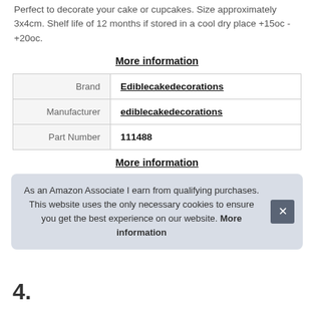Perfect to decorate your cake or cupcakes. Size approximately 3x4cm. Shelf life of 12 months if stored in a cool dry place +15oc -+20oc.
More information
| Brand | Ediblecakedecorations |
| Manufacturer | ediblecakedecorations |
| Part Number | 111488 |
More information
As an Amazon Associate I earn from qualifying purchases. This website uses the only necessary cookies to ensure you get the best experience on our website. More information
4.